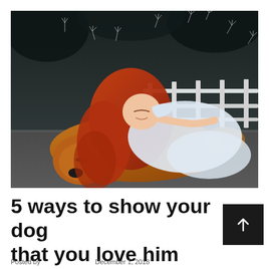[Figure (photo): A red-haired girl in a white dress lies peacefully resting her head on a golden fluffy dog (Chow Chow) on a paved surface, with a white fence and dark trees in the background. Dandelion seeds float in the air.]
5 ways to show your dog that you love him
Posted by December 1, 2018